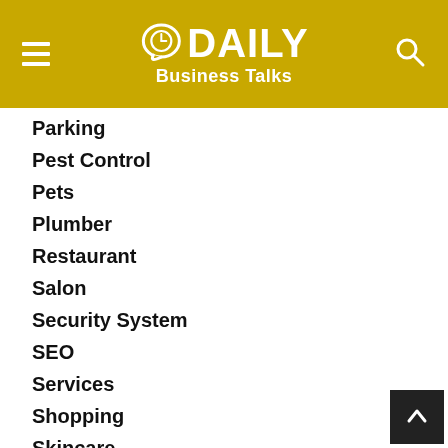DAILY Business Talks
Parking
Pest Control
Pets
Plumber
Restaurant
Salon
Security System
SEO
Services
Shopping
Skincare
Sports
Storage & Moving